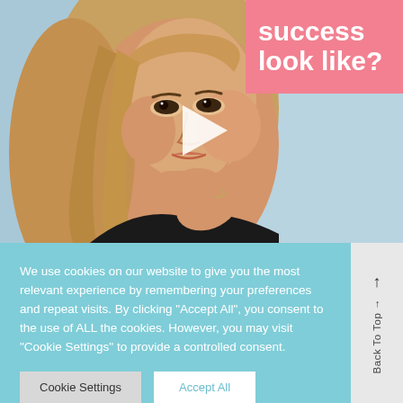[Figure (screenshot): Screenshot of a website showing a woman with blonde hair holding her hand to her chin, with a pink overlay box in the top right showing text 'success look like?' and a white play button in the center. Below is a cookie consent banner on a teal/cyan background.]
success look like?
We use cookies on our website to give you the most relevant experience by remembering your preferences and repeat visits. By clicking "Accept All", you consent to the use of ALL the cookies. However, you may visit "Cookie Settings" to provide a controlled consent.
Cookie Settings
Accept All
Back To Top →